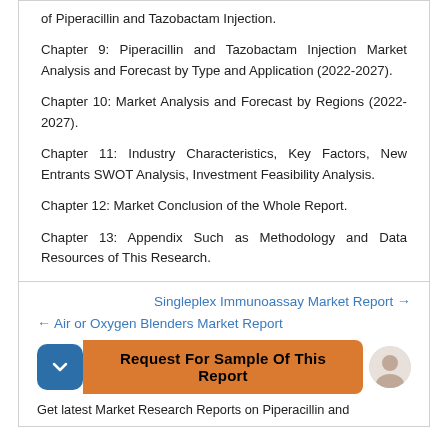of Piperacillin and Tazobactam Injection.
Chapter 9: Piperacillin and Tazobactam Injection Market Analysis and Forecast by Type and Application (2022-2027).
Chapter 10: Market Analysis and Forecast by Regions (2022-2027).
Chapter 11: Industry Characteristics, Key Factors, New Entrants SWOT Analysis, Investment Feasibility Analysis.
Chapter 12: Market Conclusion of the Whole Report.
Chapter 13: Appendix Such as Methodology and Data Resources of This Research.
Singleplex Immunoassay Market Report →
← Air or Oxygen Blenders Market Report
Request For Sample Of This Report
Get latest Market Research Reports on Piperacillin and